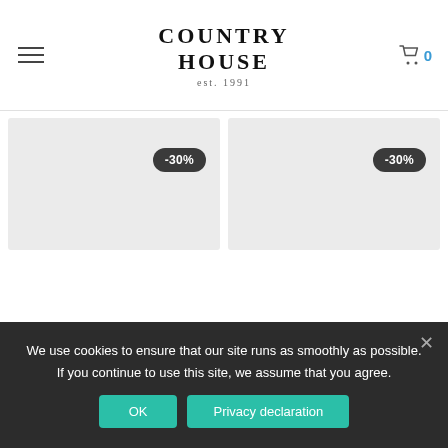COUNTRY HOUSE est. 1991
[Figure (screenshot): Two product image placeholder cards with -30% discount badges, on a light grey background, part of an e-commerce product grid]
We use cookies to ensure that our site runs as smoothly as possible. If you continue to use this site, we assume that you agree.
OK | Privacy declaration